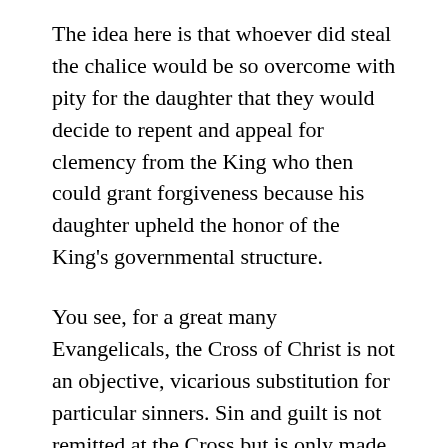The idea here is that whoever did steal the chalice would be so overcome with pity for the daughter that they would decide to repent and appeal for clemency from the King who then could grant forgiveness because his daughter upheld the honor of the King's governmental structure.
You see, for a great many Evangelicals, the Cross of Christ is not an objective, vicarious substitution for particular sinners. Sin and guilt is not remitted at the Cross but is only made potentially remittable upon later appeal and the Cross becomes only a public declaration of divine justice designed to stimulate sinners to choose to follow God. This is called the